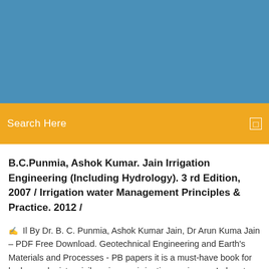[Figure (other): Blue header banner at the top of the page]
Search Here
B.C.Punmia, Ashok Kumar. Jain Irrigation Engineering (Including Hydrology). 3 rd Edition, 2007 / Irrigation water Management Principles & Practice. 2012 /
II By Dr. B. C. Punmia, Ashok Kumar Jain, Dr Arun Kuma Jain – PDF Free Download. Geotechnical Engineering and Earth's Materials and Processes - PB papers it is a must-have book for hydro-geologists, civil engineers, irrigation engineers, Laboratory